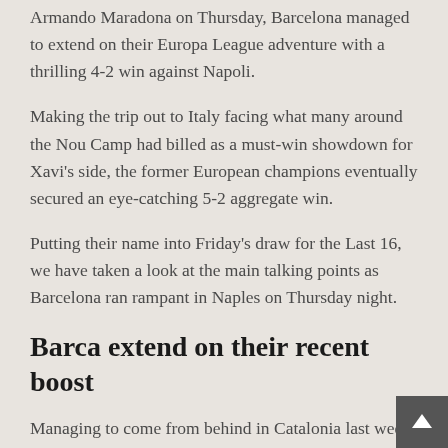Armando Maradona on Thursday, Barcelona managed to extend on their Europa League adventure with a thrilling 4-2 win against Napoli.
Making the trip out to Italy facing what many around the Nou Camp had billed as a must-win showdown for Xavi's side, the former European champions eventually secured an eye-catching 5-2 aggregate win.
Putting their name into Friday's draw for the Last 16, we have taken a look at the main talking points as Barcelona ran rampant in Naples on Thursday night.
Barca extend on their recent boost
Managing to come from behind in Catalonia last week as they snatched a 1-1 draw in their first-leg showdown, there is no doubt that Head Coach Xavi would have been impressed by a far more polished display here.
Dominating from the opening whistle on Thursday night and the likes of January arrival Adama Traore causing a string of problems for Napoli's defence, the Spanish heavyweights